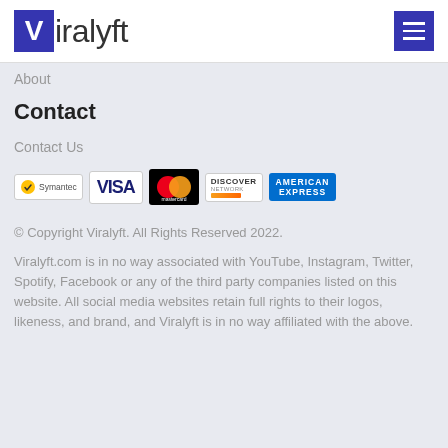Viralyft
About
Contact
Contact Us
[Figure (logo): Payment trust badges: Symantec, VISA, Mastercard, Discover Network, American Express]
© Copyright Viralyft. All Rights Reserved 2022.
Viralyft.com is in no way associated with YouTube, Instagram, Twitter, Spotify, Facebook or any of the third party companies listed on this website. All social media websites retain full rights to their logos, likeness, and brand, and Viralyft is in no way affiliated with the above.